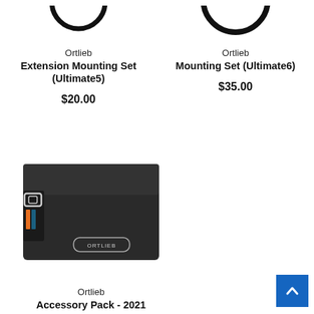[Figure (photo): Partial view of Ortlieb Extension Mounting Set (Ultimate5) - black circular mounting hardware, partially cropped at top]
Ortlieb
Extension Mounting Set (Ultimate5)
$20.00
[Figure (photo): Partial view of Ortlieb Mounting Set (Ultimate6) - black ring/circular mounting hardware, partially cropped at top]
Ortlieb
Mounting Set (Ultimate6)
$35.00
[Figure (photo): Ortlieb Accessory Pack 2021 - dark grey/black roll-top style small bag with silver buckle and Ortlieb logo label, orange accent stripe on strap]
Ortlieb
Accessory Pack - 2021